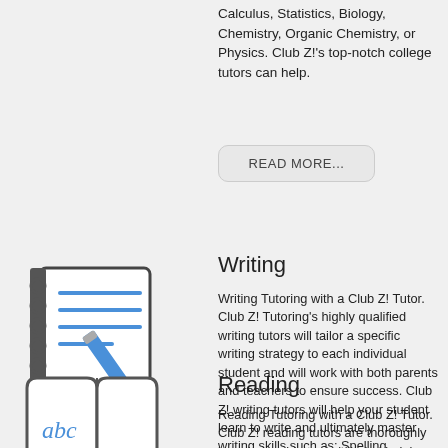Calculus, Statistics, Biology, Chemistry, Organic Chemistry, or Physics. Club Z!'s top-notch college tutors can help.
READ MORE...
[Figure (illustration): Icon of a spiral notebook with lined pages and a blue pencil overlaid, representing writing tutoring.]
Writing
Writing Tutoring with a Club Z! Tutor. Club Z! Tutoring's highly qualified writing tutors will tailor a specific writing strategy to each individual student and will work with both parents and teachers to ensure success. Club Z! writing tutors will help your student learn to write and ultimately master writing skills such as: Spelling, Grammar, Punctuation, Sentence Structure, Singular & Plural, Past & Present Tense, and Creative Writing.
READ MORE...
[Figure (illustration): Icon of an open book with 'abc' written on the left page in blue, representing reading tutoring.]
Reading
Reading Tutoring with a Club Z! Tutor. Club Z! reading tutors are thoroughly knowledgeable and skilled at helping